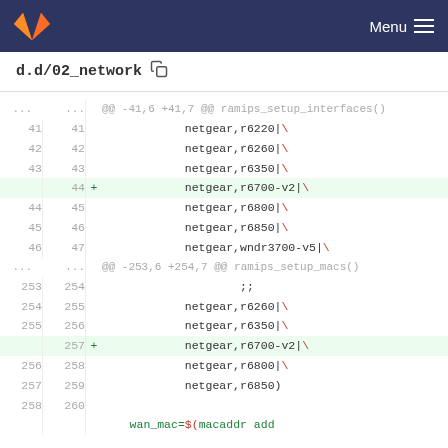d.d/02_network
diff code viewer showing git diff for d.d/02_network file with added lines for netgear,r6700-v2
| old_ln | new_ln | op | code |
| --- | --- | --- | --- |
| ... | ... |  | @@ -41,6 +41,7 @@ ramips_setup_interfaces() |
| 41 | 41 |  | netgear,r6220|\ |
| 42 | 42 |  | netgear,r6260|\ |
| 43 | 43 |  | netgear,r6350|\ |
|  | 44 | + | netgear,r6700-v2|\ |
| 44 | 45 |  | netgear,r6800|\ |
| 45 | 46 |  | netgear,r6850|\ |
| 46 | 47 |  | netgear,wndr3700-v5|\ |
| ... | ... |  | @@ -253,6 +254,7 @@ ramips_setup_macs() |
| 253 | 254 |  | ;; |
| 254 | 255 |  | netgear,r6260|\ |
| 255 | 256 |  | netgear,r6350|\ |
|  | 257 | + | netgear,r6700-v2|\ |
| 256 | 258 |  | netgear,r6800|\ |
| 257 | 259 |  | netgear,r6850) |
| 258 | 260 |  |  |
|  |  |  | wan_mac=$(macaddr add |